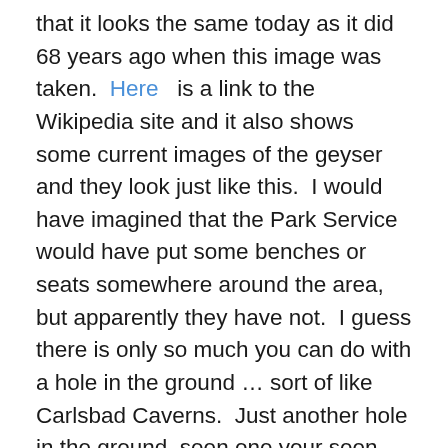that it looks the same today as it did 68 years ago when this image was taken.  Here  is a link to the Wikipedia site and it also shows some current images of the geyser and they look just like this.  I would have imagined that the Park Service would have put some benches or seats somewhere around the area, but apparently they have not.  I guess there is only so much you can do with a hole in the ground … sort of like Carlsbad Caverns.  Just another hole in the ground, seen one your seen them all.  The high light to me at Carlsbad is when all of the bats come screaming out of the opening … if you are not fore-warned, the noise that they make flying out is terrifying … imagine an Alfred Hitchcock movie, but real!!  I have some other posts ready and one is long with a lot of photos – the fire on 12th Avenue back in 1975 when the block burnt down.  That is all for now … thanks for looking and please